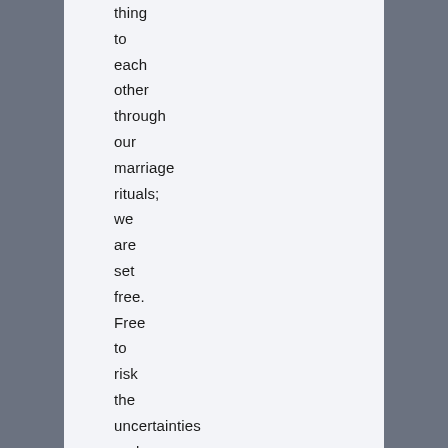thing to each other through our marriage rituals; we are set free. Free to risk the uncertainties and pain of conflict, free to explore the astonishing emotional intimacy that only marriage